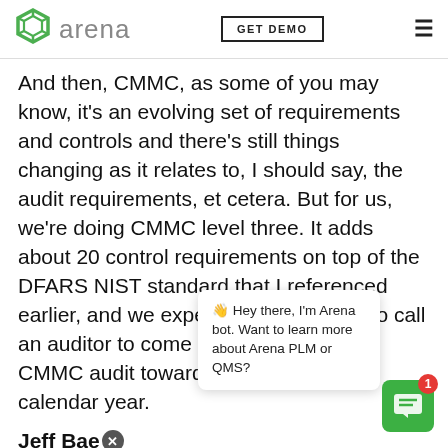arena | GET DEMO | menu
And then, CMMC, as some of you may know, it's an evolving set of requirements and controls and there's still things changing as it relates to, I should say, the audit requirements, et cetera. But for us, we're doing CMMC level three. It adds about 20 control requirements on top of the DFARS NIST standard that I referenced earlier, and we expect to be prepared to call an auditor to come in and perform that CMMC audit towards the end of this calendar year.
Jeff Bae.
So, a lot of ... M and then again, DFARS, the program is solidly